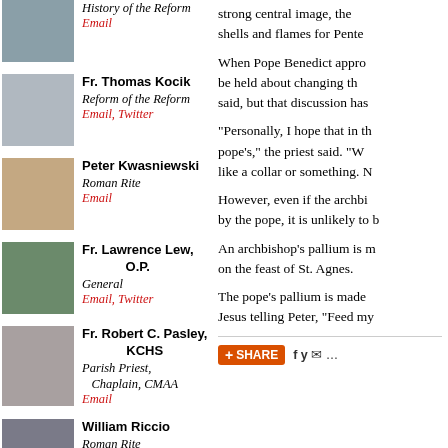History of the Reform
Email
Fr. Thomas Kocik
Reform of the Reform
Email, Twitter
Peter Kwasniewski
Roman Rite
Email
Fr. Lawrence Lew, O.P.
General
Email, Twitter
Fr. Robert C. Pasley, KCHS
Parish Priest, Chaplain, CMAA
Email
William Riccio
Roman Rite
Email
strong central image, the shells and flames for Pente
When Pope Benedict appro be held about changing th said, but that discussion has
"Personally, I hope that in th pope's," the priest said. "W like a collar or something. N
However, even if the archbi by the pope, it is unlikely to b
An archbishop's pallium is m on the feast of St. Agnes.
The pope's pallium is made Jesus telling Peter, "Feed my